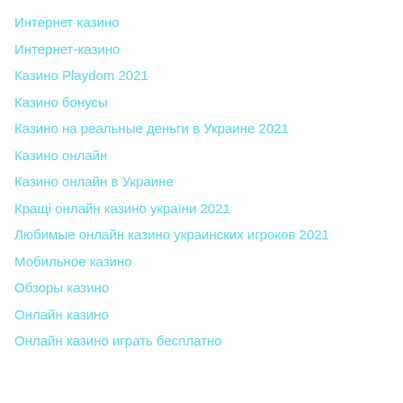Интернет казино
Интернет-казино
Казино Playdom 2021
Казино бонусы
Казино на реальные деньги в Украине 2021
Казино онлайн
Казино онлайн в Украине
Кращі онлайн казино україни 2021
Любимые онлайн казино украинских игроков 2021
Мобильное казино
Обзоры казино
Онлайн казино
Онлайн казино играть бесплатно